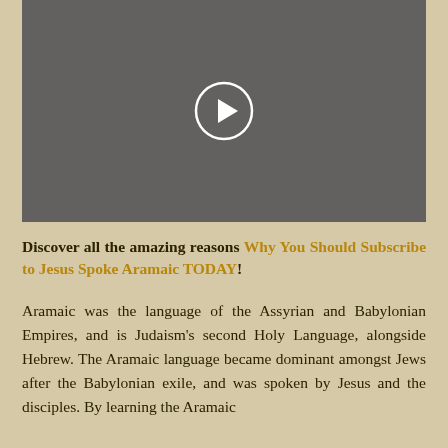[Figure (screenshot): Video player placeholder with dark grey background and a white circular play button in the center]
Discover all the amazing reasons Why You Should Subscribe to Jesus Spoke Aramaic TODAY!
Aramaic was the language of the Assyrian and Babylonian Empires, and is Judaism's second Holy Language, alongside Hebrew. The Aramaic language became dominant amongst Jews after the Babylonian exile, and was spoken by Jesus and the disciples. By learning the Aramaic